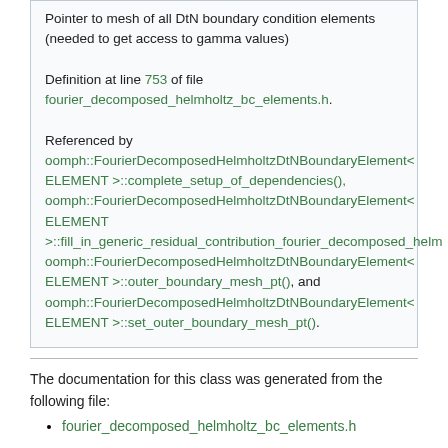Pointer to mesh of all DtN boundary condition elements (needed to get access to gamma values)

Definition at line 753 of file fourier_decomposed_helmholtz_bc_elements.h.

Referenced by oomph::FourierDecomposedHelmholtzDtNBoundaryElement< ELEMENT >::complete_setup_of_dependencies(), oomph::FourierDecomposedHelmholtzDtNBoundaryElement< ELEMENT >::fill_in_generic_residual_contribution_fourier_decomposed_helm, oomph::FourierDecomposedHelmholtzDtNBoundaryElement< ELEMENT >::outer_boundary_mesh_pt(), and oomph::FourierDecomposedHelmholtzDtNBoundaryElement< ELEMENT >::set_outer_boundary_mesh_pt().
The documentation for this class was generated from the following file:
fourier_decomposed_helmholtz_bc_elements.h
Generated by doxygen on Mon May 9 2022 09:52:34